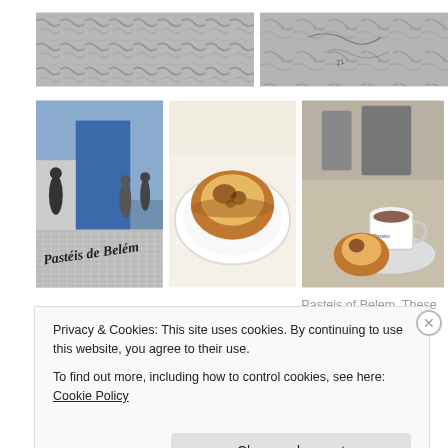[Figure (photo): Two grayscale texture/surface photos side by side in top row]
[Figure (photo): Three photos: Pasteis de Belem storefront, a pastel de nata on a plate, a pastel de nata with coffee]
Pasteis of Belem. These famous pastries have a crunchy shell and soft vanilla
Privacy & Cookies: This site uses cookies. By continuing to use this website, you agree to their use.
To find out more, including how to control cookies, see here: Cookie Policy
Close and accept